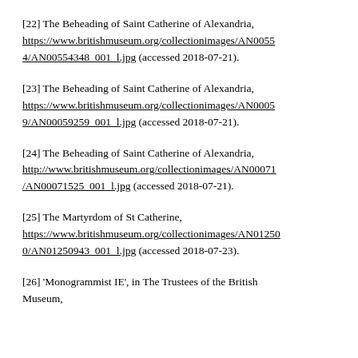[22] The Beheading of Saint Catherine of Alexandria, https://www.britishmuseum.org/collectionimages/AN00554/AN00554348_001_l.jpg (accessed 2018-07-21).
[23] The Beheading of Saint Catherine of Alexandria, https://www.britishmuseum.org/collectionimages/AN00059/AN00059259_001_l.jpg (accessed 2018-07-21).
[24] The Beheading of Saint Catherine of Alexandria, http://www.britishmuseum.org/collectionimages/AN00071/AN00071525_001_l.jpg (accessed 2018-07-21).
[25] The Martyrdom of St Catherine, https://www.britishmuseum.org/collectionimages/AN01250/AN01250943_001_l.jpg (accessed 2018-07-23).
[26] 'Monogrammist IE', in The Trustees of the British Museum,